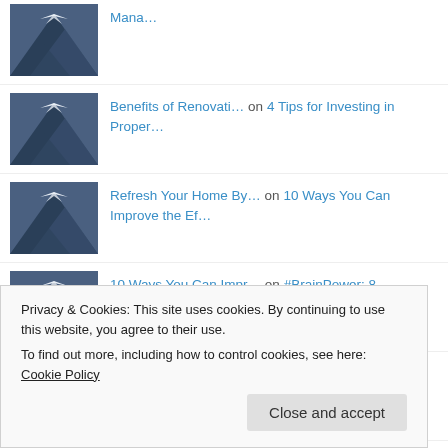Mana… on [link]
Benefits of Renovati… on 4 Tips for Investing in Proper…
Refresh Your Home By… on 10 Ways You Can Improve the Ef…
10 Ways You Can Impr… on #BrainPower: 8 Supplements for…
Ready For A Great Ro… on Planning The Best Summer Road…
4 Tips for Investing… on 4 Tips for Renovating a Fixer-…
Privacy & Cookies: This site uses cookies. By continuing to use this website, you agree to their use.
To find out more, including how to control cookies, see here: Cookie Policy
Close and accept